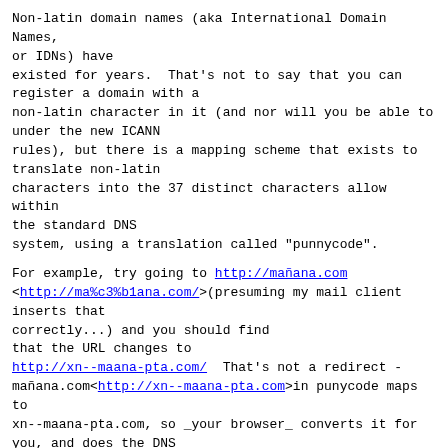Non-latin domain names (aka International Domain Names, or IDNs) have existed for years.  That's not to say that you can register a domain with a non-latin character in it (and nor will you be able to under the new ICANN rules), but there is a mapping scheme that exists to translate non-latin characters into the 37 distinct characters allow within the standard DNS system, using a translation called "punnycode".
For example, try going to http://mañana.com <http://ma%c3%b1ana.com/>(presuming my mail client inserts that correctly...) and you should find that the URL changes to http://xn--maana-pta.com/  That's not a redirect - mañana.com<http://xn--maana-pta.com>in punycode maps to xn--maana-pta.com, so _your browser_ converts it for you, and does the DNS lookup for the encoded domain name.
At that point normal DNS rules apply - the hostname now contains only valid DNS characters, and thus it looks it up normally.
What ICANN have passed in the past few days is the use of IDN's for ccTLD. ie. they are now going to allow registering a country-